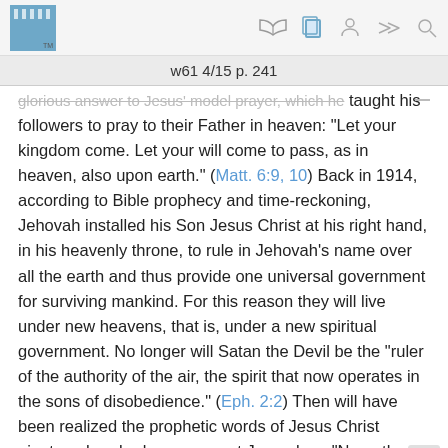[Figure (logo): Watchtower logo - blue box with white notched top and TM mark]
[Figure (infographic): Toolbar icons: book/open bible, copy/pages, person, forward arrow, search/magnifier]
w61 4/15 p. 241
glorious answer to Jesus' model prayer, which he taught his followers to pray to their Father in heaven: “Let your kingdom come. Let your will come to pass, as in heaven, also upon earth.” (Matt. 6:9, 10) Back in 1914, according to Bible prophecy and time-reckoning, Jehovah installed his Son Jesus Christ at his right hand, in his heavenly throne, to rule in Jehovah’s name over all the earth and thus provide one universal government for surviving mankind. For this reason they will live under new heavens, that is, under a new spiritual government. No longer will Satan the Devil be the “ruler of the authority of the air, the spirit that now operates in the sons of disobedience.” (Eph. 2:2) Then will have been realized the prophetic words of Jesus Christ nineteen hundred years ago at Jerusalem: “N… there is a judging of this world; now the ruler of this…